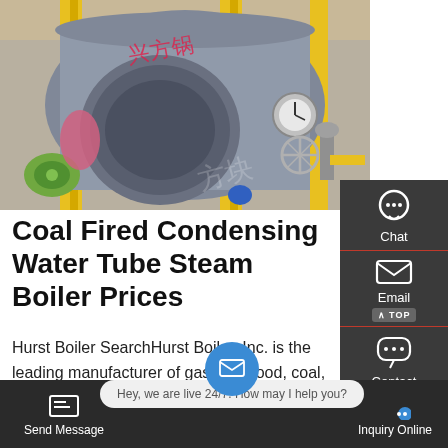[Figure (photo): Industrial boiler facility with large cylindrical steam boilers, yellow pipes, gauges, and machinery in a warehouse setting. Chinese text watermark visible.]
Coal Fired Condensing Water Tube Steam Boiler Prices
Hurst Boiler SearchHurst Boiler, Inc. is the leading manufacturer of gas, oil, wood, coal, solid fuel, solid waste, biomass and hybrid fuel-fired steam and hot water
Send Message | Hey, we are live 24/7. How may I help you? | Inquiry Online